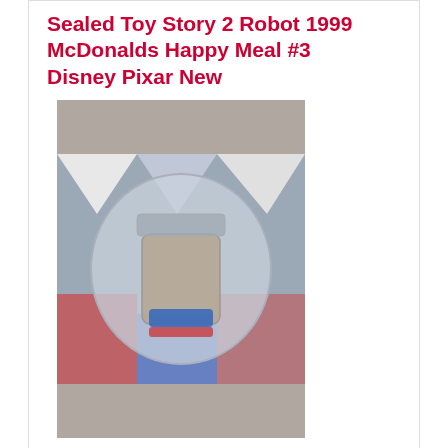Sealed Toy Story 2 Robot 1999 McDonalds Happy Meal #3 Disney Pixar New
[Figure (photo): Sealed Happy Meal toy in clear plastic packaging on a colorful background]
$23.50
Buy It Now for only: $23.50
We use cookies to provide content from third parties, to provide social media features, to analyse our traffic, and to track affiliate sales. We may also share this anonymous information about your use of our site with our social media, advertising and analytics partners. Cookie policy